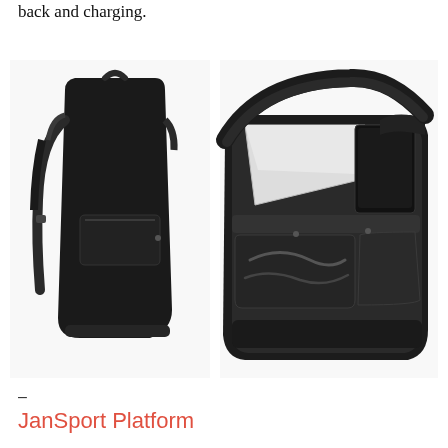back and charging.
[Figure (photo): Two views of a black backpack: left shows the exterior front view of a sleek black nylon backpack with straps; right shows the interior open view with a laptop, tablet, and accessories organized in compartments.]
–
JanSport Platform